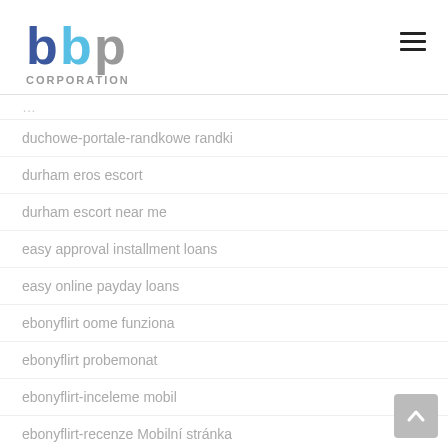[Figure (logo): BBP Corporation logo — stylized blue and grey letters 'bbp' above the word CORPORATION in grey]
duchowe-portale-randkowe randki
durham eros escort
durham escort near me
easy approval installment loans
easy online payday loans
ebonyflirt oome funziona
ebonyflirt probemonat
ebonyflirt-inceleme mobil
ebonyflirt-recenze Mobilní stránka